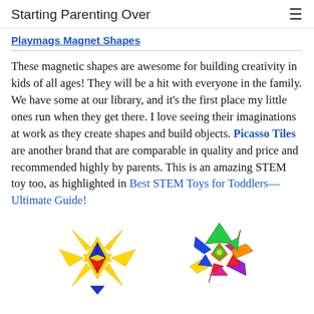Starting Parenting Over
Playmags Magnet Shapes
These magnetic shapes are awesome for building creativity in kids of all ages! They will be a hit with everyone in the family. We have some at our library, and it's the first place my little ones run when they get there. I love seeing their imaginations at work as they create shapes and build objects. Picasso Tiles are another brand that are comparable in quality and price and recommended highly by parents. This is an amazing STEM toy too, as highlighted in Best STEM Toys for Toddlers—Ultimate Guide!
[Figure (photo): Two magnetic shape toys built from colorful magnetic tiles: a yellow star shape on the left and a colorful flower shape on the right, partially visible at the bottom of the page.]